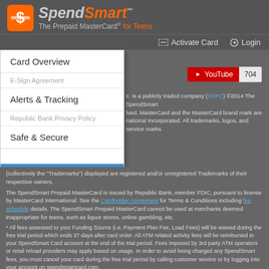[Figure (logo): SpendSmart logo with orange dollar sign icon and text 'SpendSmart™ The Prepaid MasterCard® for Teens']
Activate Card  Login
[Figure (screenshot): Dropdown menu showing: Card Overview, E-Sign Agreement (grayed), Alerts & Tracking, Republic Bank Privacy Policy (grayed), Safe & Secure, (grayed item), Any Questions? (highlighted blue). YouTube button with count 704 visible to the right.]
...c. is a publicly traded company (SSPC) ©2014 The SpendSmart ...lved. MasterCard and the MasterCard brand mark are ...national Incorporated. All trademarks, logos, and service marks (collectively the "Trademarks") displayed are registered and/or unregistered Trademarks of their respective owners.
The SpendSmart Prepaid MasterCard is issued by Republic Bank, member FDIC, pursuant to license by MasterCard International. See the Cardholder Agreement for Terms & Conditions including fee schedule details. The SpendSmart Prepaid MasterCard cannot be used at merchants deemed inappropriate for teens, such as liquor stores, online gambling, etc.
* All fees assessed to your Funding Source (i.e. Payment Plan Fee, Load Fees) will be waived during the free trial period which ends 37 days after card order. All ATM related activity fees will be reimbursed to your SpendSmart Card account at the end of the trial period. Fees imposed by 3rd party ATM operators or retail reload providers may apply based on usage. In order to avoid being charged any SpendSmart fees, you must cancel your card during the free trial period by calling customer service or by logging into your account on spendsmartcard.com.